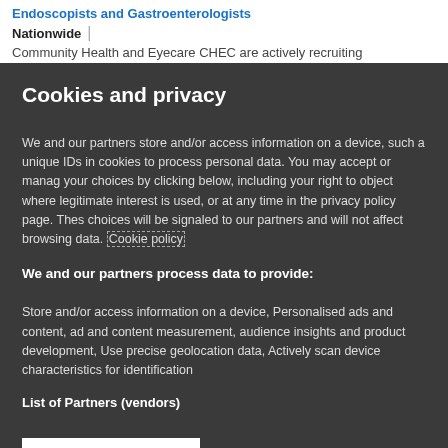Endoscopists and Gastroenterologists
Nationwide | Community Health and Eyecare CHEC are actively recruiting
Cookies and privacy
We and our partners store and/or access information on a device, such as unique IDs in cookies to process personal data. You may accept or manage your choices by clicking below, including your right to object where legitimate interest is used, or at any time in the privacy policy page. These choices will be signaled to our partners and will not affect browsing data. Cookie policy
We and our partners process data to provide:
Store and/or access information on a device, Personalised ads and content, ad and content measurement, audience insights and product development, Use precise geolocation data, Actively scan device characteristics for identification
List of Partners (vendors)
I Accept